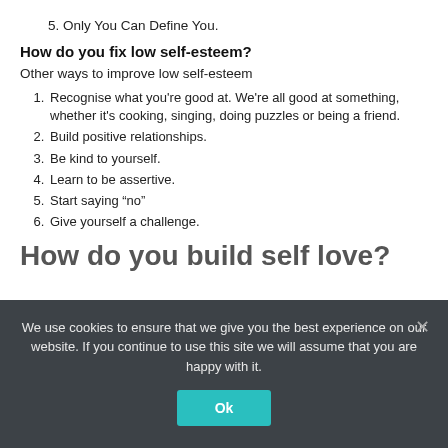5. Only You Can Define You.
How do you fix low self-esteem?
Other ways to improve low self-esteem
1. Recognise what you're good at. We're all good at something, whether it's cooking, singing, doing puzzles or being a friend.
2. Build positive relationships.
3. Be kind to yourself.
4. Learn to be assertive.
5. Start saying “no”
6. Give yourself a challenge.
How do you build self love?
We use cookies to ensure that we give you the best experience on our website. If you continue to use this site we will assume that you are happy with it.